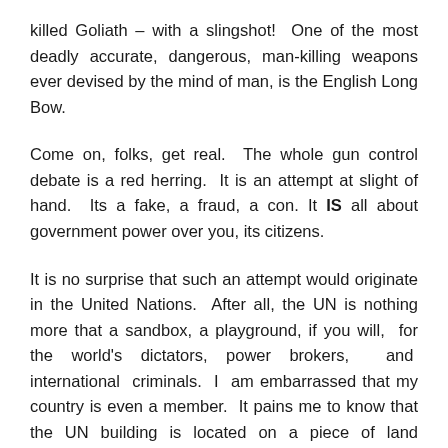killed Goliath – with a slingshot!  One of the most deadly accurate, dangerous, man-killing weapons ever devised by the mind of man, is the English Long Bow.
Come on, folks, get real.  The whole gun control debate is a red herring.  It is an attempt at slight of hand.  Its a fake, a fraud, a con. It IS all about government power over you, its citizens.
It is no surprise that such an attempt would originate in the United Nations.  After all, the UN is nothing more that a sandbox, a playground, if you will,  for the world's dictators, power brokers,  and  international  criminals.  I  am embarrassed that my country is even a member.  It pains me to know that the UN building is located on a piece of land adjacent to New York City. (The UN owns the ground upon which their headquarters sits.)   They are unwelcome